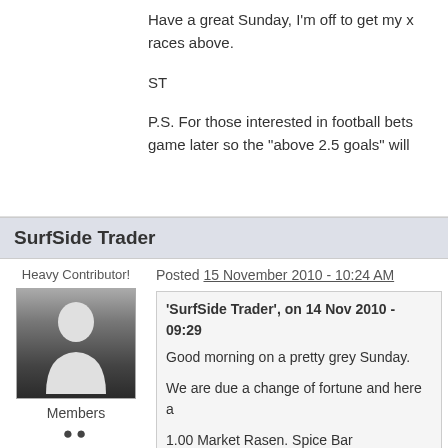Have a great Sunday, I'm off to get my races above.
ST
P.S. For those interested in football bets game later so the "above 2.5 goals" will
SurfSide Trader
Heavy Contributor!
Posted 15 November 2010 - 10:24 AM
[Figure (photo): Default user avatar silhouette on gradient background]
Members
59 posts
'SurfSide Trader', on 14 Nov 2010 - 09:29
Good morning on a pretty grey Sunday.
We are due a change of fortune and here a
1.00 Market Rasen. Spice Bar